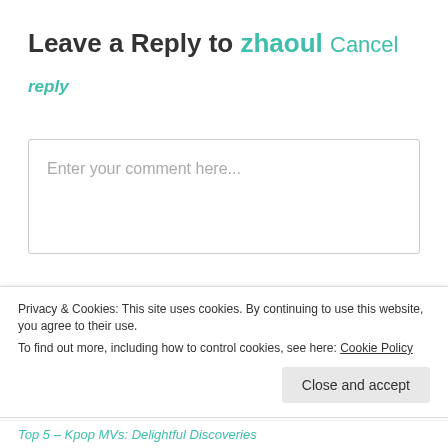Leave a Reply to zhaoul Cancel
reply
Enter your comment here...
Search ...
Privacy & Cookies: This site uses cookies. By continuing to use this website, you agree to their use.
To find out more, including how to control cookies, see here: Cookie Policy
Close and accept
Top 5 – Kpop MVs: Delightful Discoveries